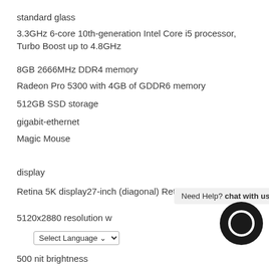standard glass
3.3GHz 6-core 10th-generation Intel Core i5 processor, Turbo Boost up to 4.8GHz
8GB 2666MHz DDR4 memory
Radeon Pro 5300 with 4GB of GDDR6 memory
512GB SSD storage
gigabit-ethernet
Magic Mouse
display
Retina 5K display27-inch (diagonal) Retina 5K display
5120x2880 resolution w
500 nit brightness